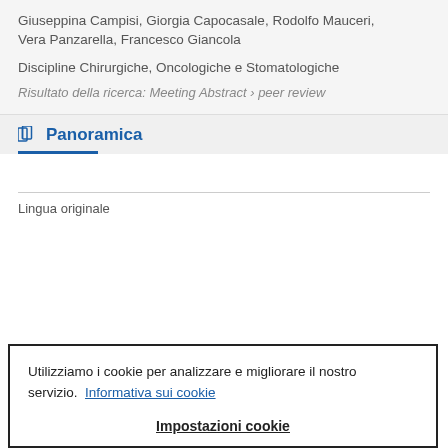Giuseppina Campisi, Giorgia Capocasale, Rodolfo Mauceri, Vera Panzarella, Francesco Giancola
Discipline Chirurgiche, Oncologiche e Stomatologiche
Risultato della ricerca: Meeting Abstract › peer review
Panoramica
Lingua originale
Utilizziamo i cookie per analizzare e migliorare il nostro servizio.  Informativa sui cookie
Impostazioni cookie